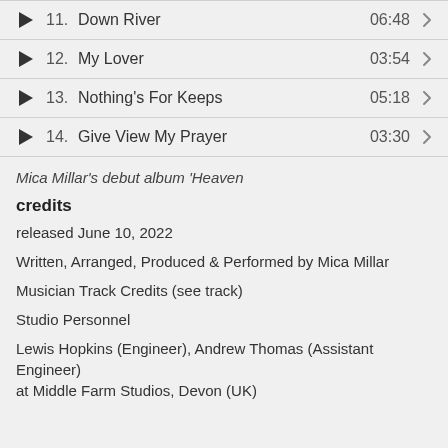11. Down River 06:48
12. My Lover 03:54
13. Nothing's For Keeps 05:18
14. Give View My Prayer 03:30
Mica Millar's debut album 'Heaven
credits
released June 10, 2022
Written, Arranged, Produced & Performed by Mica Millar
Musician Track Credits (see track)
Studio Personnel
Lewis Hopkins (Engineer), Andrew Thomas (Assistant Engineer) at Middle Farm Studios, Devon (UK)